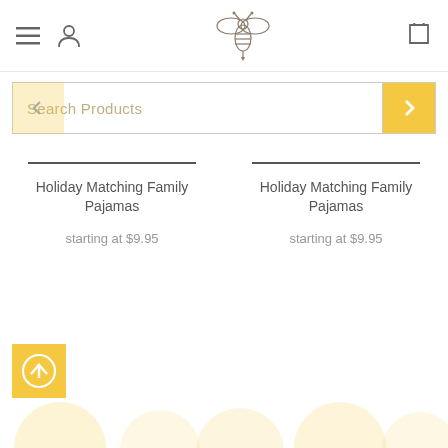[Figure (screenshot): Website header navigation bar with hamburger menu icon, user account icon, bee logo in center, and shopping bag icon on right]
[Figure (screenshot): Search products input box with placeholder text and yellow search/arrow button on right]
Holiday Matching Family Pajamas
starting at $9.95
Holiday Matching Family Pajamas
starting at $9.95
[Figure (illustration): Yellow square scroll-to-top button with upward arrow circle icon]
[Figure (illustration): Bottom decorative strip with soft yellow/golden circular blur pattern]